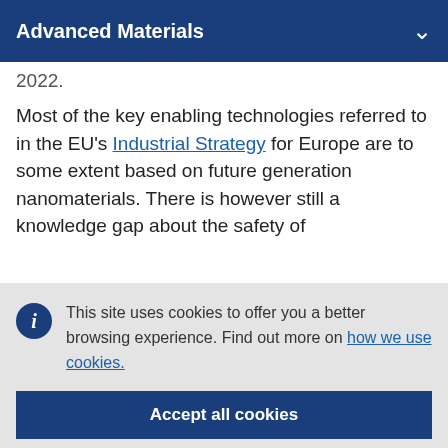Advanced Materials
2022.
Most of the key enabling technologies referred to in the EU's Industrial Strategy for Europe are to some extent based on future generation nanomaterials. There is however still a knowledge gap about the safety of
This site uses cookies to offer you a better browsing experience. Find out more on how we use cookies.
Accept all cookies
Accept only essential cookies